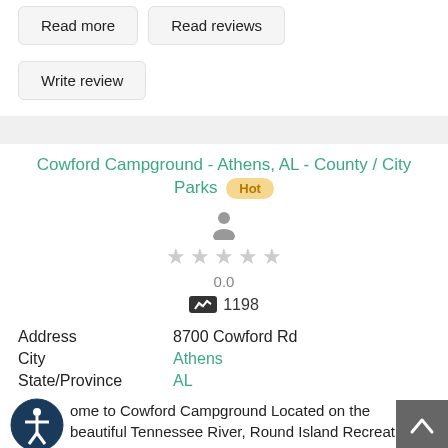[Figure (screenshot): Buttons row: 'Read more' and 'Read reviews' buttons]
[Figure (screenshot): 'Write review' button]
Cowford Campground - Athens, AL - County / City Parks Hot
[Figure (infographic): User icon with 5 empty stars and rating 0.0, and view count 1198]
Address   8700 Cowford Rd
City   Athens
State/Province   AL
ome to Cowford Campground Located on the beautiful Tennessee River, Round Island Recreational